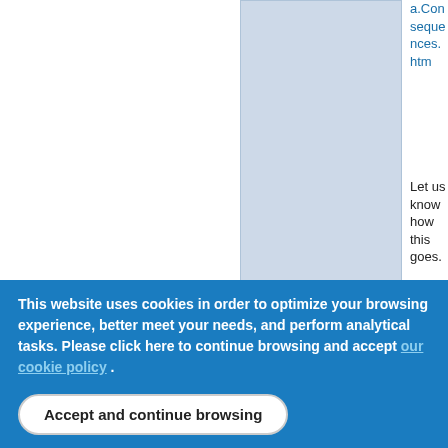[Figure (screenshot): Light blue comment/reply box area in a web forum layout]
a.Consequences.htm
Let us know how this goes.

PK
Top
Log in or register to post comments
This website uses cookies in order to optimize your browsing experience, better meet your needs, and perform analytical tasks. Please click here to continue browsing and accept our cookie policy .
Accept and continue browsing